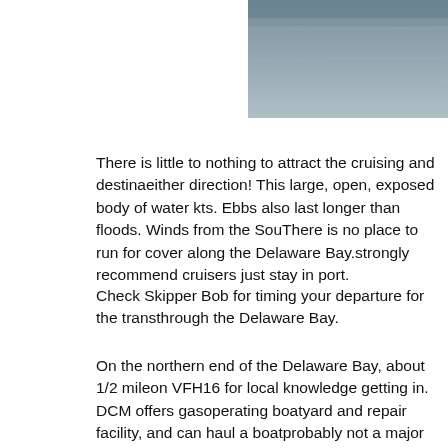[Figure (photo): Partial view of a large open body of water, likely Delaware Bay, showing grey water surface with subtle wave patterns. Image is cropped at the top-right corner of the page.]
There is little to nothing to attract the cruising and destination sailor in either direction! This large, open, exposed body of water kts. Ebbs also last longer than floods. Winds from the Sou There is no place to run for cover along the Delaware Bay. strongly recommend cruisers just stay in port.
Check Skipper Bob for timing your departure for the trans through the Delaware Bay.
On the northern end of the Delaware Bay, about 1/2 mile on VFH16 for local knowledge getting in. DCM offers gas operating boatyard and repair facility, and can haul a boat probably not a major re-provisioning. There are two pub-f place to wait out bad weather.